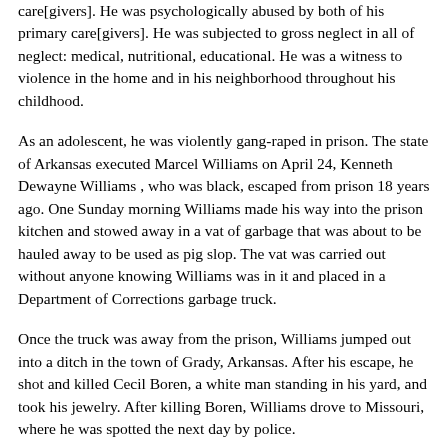care[givers]. He was psychologically abused by both of his primary care[givers]. He was subjected to gross neglect in all of neglect: medical, nutritional, educational. He was a witness to violence in the home and in his neighborhood throughout his childhood.
As an adolescent, he was violently gang-raped in prison. The state of Arkansas executed Marcel Williams on April 24, Kenneth Dewayne Williams , who was black, escaped from prison 18 years ago. One Sunday morning Williams made his way into the prison kitchen and stowed away in a vat of garbage that was about to be hauled away to be used as pig slop. The vat was carried out without anyone knowing Williams was in it and placed in a Department of Corrections garbage truck.
Once the truck was away from the prison, Williams jumped out into a ditch in the town of Grady, Arkansas. After his escape, he shot and killed Cecil Boren, a white man standing in his yard, and took his jewelry. After killing Boren, Williams drove to Missouri, where he was spotted the next day by police.
During a high-speed chase, Williams rammed into a water delivery truck. The driver, year-old Michael Greenwood, was killed. Williams was captured, tried, and sentenced to death. He later confessed that the same day he had killed Hurd, he had also killed another man, making him responsible for a total of four deaths